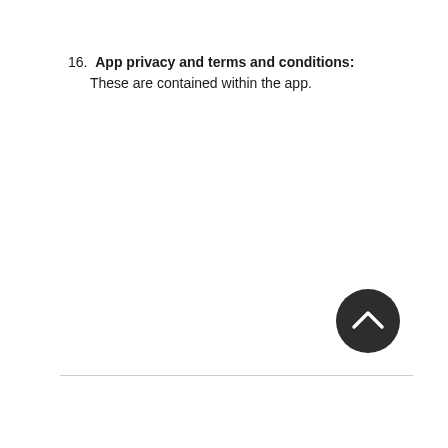16. App privacy and terms and conditions: These are contained within the app.
[Figure (other): Dark circular scroll-to-top button with upward chevron arrow icon]